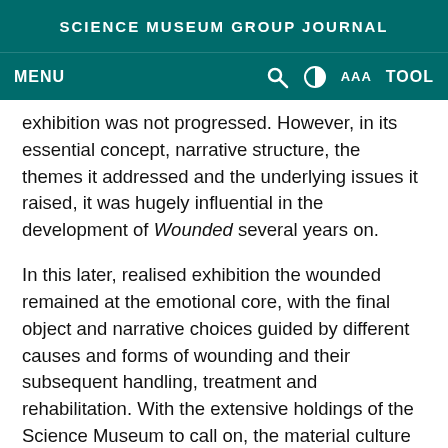SCIENCE MUSEUM GROUP JOURNAL
MENU   🔍   ◑   AAA   TOOL
exhibition was not progressed. However, in its essential concept, narrative structure, the themes it addressed and the underlying issues it raised, it was hugely influential in the development of Wounded several years on.
In this later, realised exhibition the wounded remained at the emotional core, with the final object and narrative choices guided by different causes and forms of wounding and their subsequent handling, treatment and rehabilitation. With the extensive holdings of the Science Museum to call on, the material culture associated with these episodes populated the showcases throughout the Wounded exhibition.